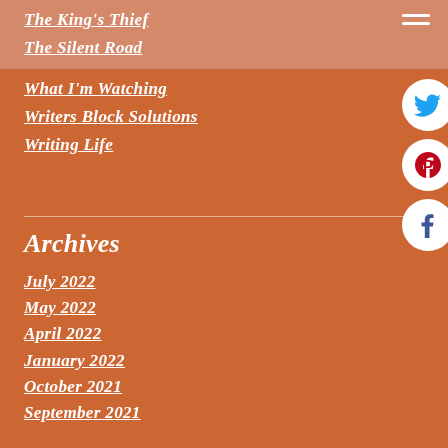The King's Thief
The Silent Road
What I'm Watching
Writers Block Solutions
Writing Life
[Figure (other): Hamburger menu icon (three horizontal white lines)]
[Figure (other): Twitter social icon — white circle with blue Twitter bird]
[Figure (other): Pinterest social icon — white circle with red P logo]
[Figure (other): Facebook social icon — white circle with dark blue f logo]
Archives
July 2022
May 2022
April 2022
January 2022
October 2021
September 2021